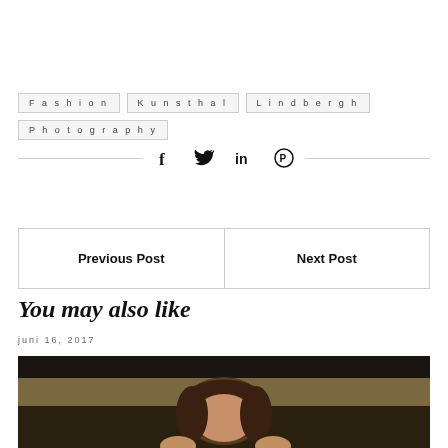Fashion
Kunsthal
Lindbergh
Photography
[Figure (other): Social share icons: Facebook (f), Twitter (bird), LinkedIn (in), Pinterest (P)]
| Previous Post | Next Post |
| --- | --- |
You may also like
juni 16, 2017
[Figure (photo): A woman with brown bangs, looking down, photographed indoors with a dark/warm background]